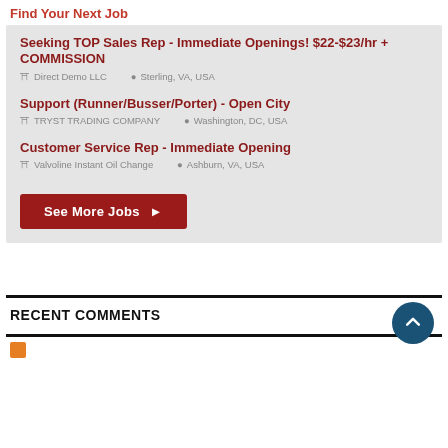Find Your Next Job
Seeking TOP Sales Rep - Immediate Openings! $22-$23/hr + COMMISSION
Direct Demo LLC   Sterling, VA, USA
Support (Runner/Busser/Porter) - Open City
TRYST TRADING COMPANY   Washington, DC, USA
Customer Service Rep - Immediate Opening
Valvoline Instant Oil Change   Ashburn, VA, USA
See More Jobs ▶
RECENT COMMENTS